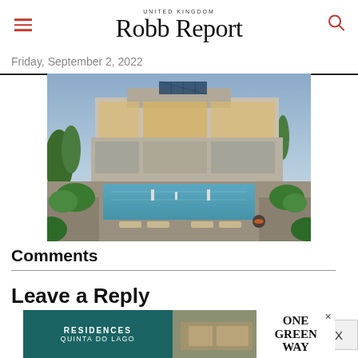UNITED KINGDOM Robb Report
Friday, September 2, 2022
[Figure (photo): Luxury modern villa with pool, outdoor living areas, garden landscaping, and rooftop solar panels at dusk with warm interior lighting]
Comments
Leave a Reply
[Figure (infographic): Advertisement banner for Residences Quinta do Lago / One Green Way featuring luxury real estate]